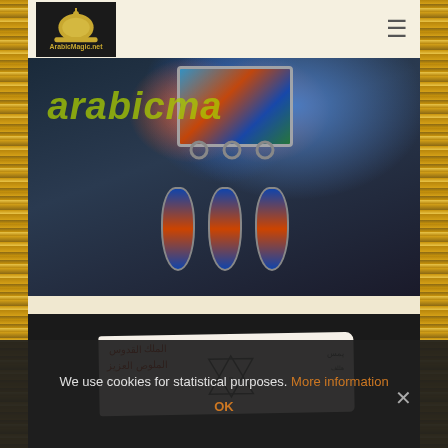[Figure (logo): ArabicMagic.net logo — white mosque dome icon above text on black background]
[Figure (photo): Close-up of decorative Arabic/Moroccan jewelry box with colorful enamel inlay (blue, orange, green) and three pendant drops with blue and orange enamel. Yellow-green watermark text 'arabicma...' overlaid.]
[Figure (photo): Handwritten Arabic paper with script text and Star of David symbol, on dark background]
We use cookies for statistical purposes. More information
OK